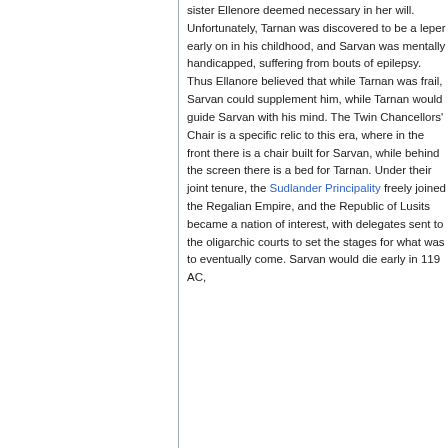sister Ellenore deemed necessary in her will. Unfortunately, Tarnan was discovered to be a leper early on in his childhood, and Sarvan was mentally handicapped, suffering from bouts of epilepsy. Thus Ellanore believed that while Tarnan was frail, Sarvan could supplement him, while Tarnan would guide Sarvan with his mind. The Twin Chancellors' Chair is a specific relic to this era, where in the front there is a chair built for Sarvan, while behind the screen there is a bed for Tarnan. Under their joint tenure, the Sudlander Principality freely joined the Regalian Empire, and the Republic of Lusits became a nation of interest, with delegates sent to the oligarchic courts to set the stages for what was to eventually come. Sarvan would die early in 119 AC,